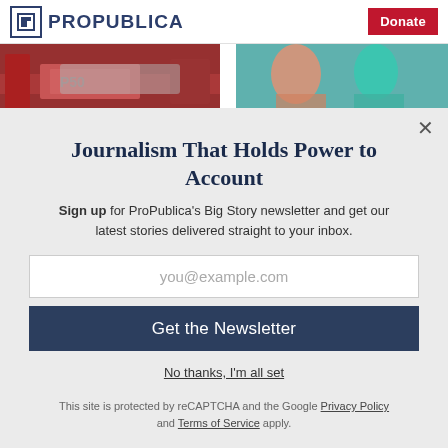ProPublica | Donate
[Figure (photo): Two photos side by side: left shows machinery/equipment with red elements; right shows people at a table in teal/cyan clothing]
Journalism That Holds Power to Account
Sign up for ProPublica's Big Story newsletter and get our latest stories delivered straight to your inbox.
you@example.com
Get the Newsletter
No thanks, I'm all set
This site is protected by reCAPTCHA and the Google Privacy Policy and Terms of Service apply.